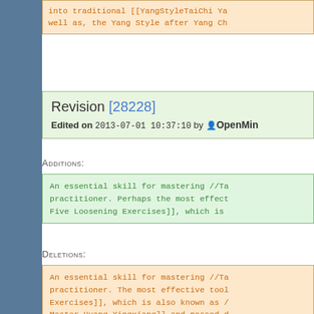into traditional [[YangStyleTaiChi Ya well as, the Yang Style after Yang Ch
Revision [28228]
Edited on 2013-07-01 10:37:10 by OpenMin
Additions:
An essential skill for mastering //Ta practitioner. Perhaps the most effect Five Loosening Exercises]], which is
Deletions:
An essential skill for mastering //Ta practitioner. The most effective tool Exercises]], which is also known as / Master Huang Xingxiang]] and passed d